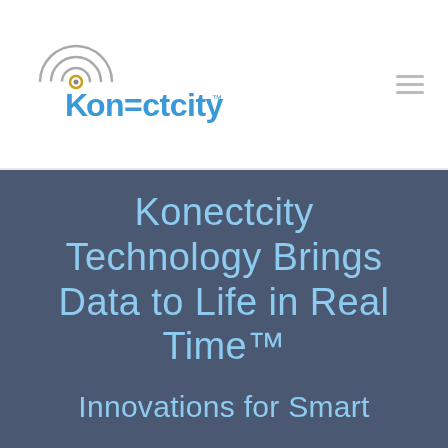[Figure (logo): Konectcity logo with wifi/signal icon above the text, in teal/blue colors]
Konectcity Technology Brings Data to Life in Real Time™
Innovations for Smart